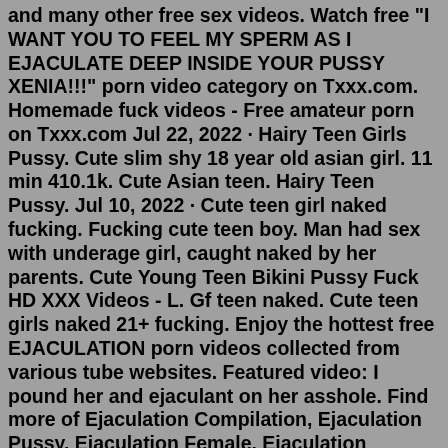and many other free sex videos. Watch free "I WANT YOU TO FEEL MY SPERM AS I EJACULATE DEEP INSIDE YOUR PUSSY XENIA!!!" porn video category on Txxx.com. Homemade fuck videos - Free amateur porn on Txxx.com Jul 22, 2022 · Hairy Teen Girls Pussy. Cute slim shy 18 year old asian girl. 11 min 410.1k. Cute Asian teen. Hairy Teen Pussy. Jul 10, 2022 · Cute teen girl naked fucking. Fucking cute teen boy. Man had sex with underage girl, caught naked by her parents. Cute Young Teen Bikini Pussy Fuck HD XXX Videos - L. Gf teen naked. Cute teen girls naked 21+ fucking. Enjoy the hottest free EJACULATION porn videos collected from various tube websites. Featured video: I pound her and ejaculant on her asshole. Find more of Ejaculation Compilation, Ejaculation Pussy, Ejaculation Female, Ejaculation Interne, Doggystyle and many other free sex videos. Watch free "I WANT YOU TO FEEL MY SPERM AS I EJACULATE DEEP INSIDE YOUR PUSSY XENIA!!!" porn video category on Txxx.com. Homemade fuck videos - Free amateur porn on